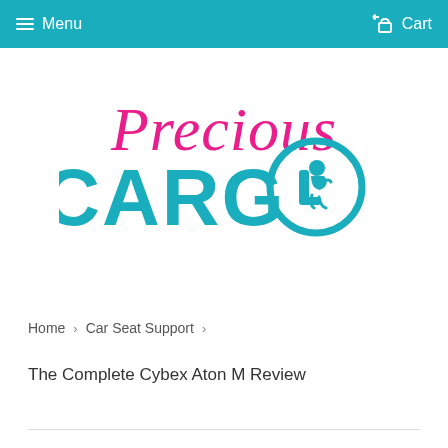Menu   Cart
[Figure (logo): Precious Cargo logo with 'Precious' written in cursive pink/magenta script and 'CARGO' in large teal bold letters, with the letter O replaced by a circular icon depicting a baby in a car seat, also in teal.]
Home > Car Seat Support >
The Complete Cybex Aton M Review